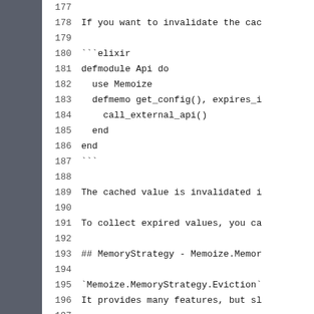177  (empty line)
178  If you want to invalidate the cac
179  (empty line)
180  ```elixir
181  defmodule Api do
182    use Memoize
183    defmemo get_config(), expires_i
184      call_external_api()
185    end
186  end
187  ```
188  (empty line)
189  The cached value is invalidated i
190  (empty line)
191  To collect expired values, you ca
192  (empty line)
193  ## MemoryStrategy - Memoize.Memor
194  (empty line)
195  `Memoize.MemoryStrategy.Eviction`
196  It provides many features, but sl
197  (empty line)
198  The strategy is, basically, if ca